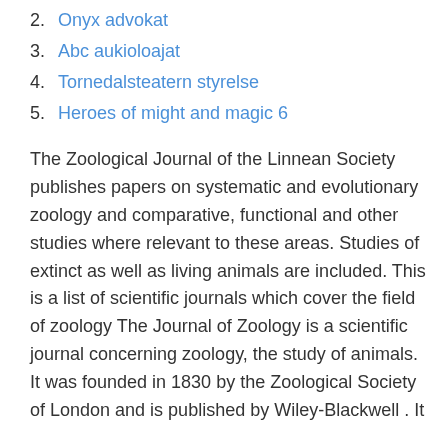2. Onyx advokat
3. Abc aukioloajat
4. Tornedalsteatern styrelse
5. Heroes of might and magic 6
The Zoological Journal of the Linnean Society publishes papers on systematic and evolutionary zoology and comparative, functional and other studies where relevant to these areas. Studies of extinct as well as living animals are included. This is a list of scientific journals which cover the field of zoology The Journal of Zoology is a scientific journal concerning zoology, the study of animals. It was founded in 1830 by the Zoological Society of London and is published by Wiley-Blackwell . It